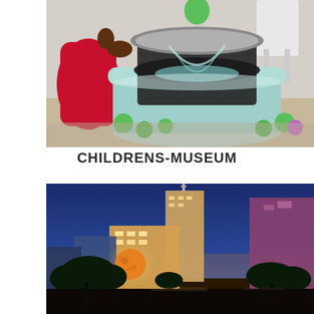[Figure (photo): A child playing with a large water vortex exhibit at a children's museum. A cylindrical tank with a funnel creating a water tornado effect, surrounded by green and purple floating balls. A child in a red apron reaches toward the exhibit.]
CHILDRENS-MUSEUM
[Figure (photo): Nighttime cityscape with illuminated skyscrapers and a large orange full moon visible between trees in the foreground. Blue twilight sky in the background with warm golden lights on buildings.]